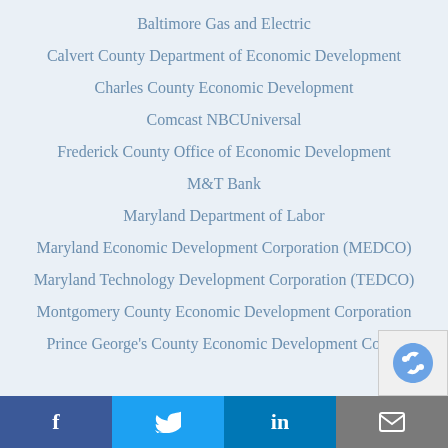Baltimore Gas and Electric
Calvert County Department of Economic Development
Charles County Economic Development
Comcast NBCUniversal
Frederick County Office of Economic Development
M&T Bank
Maryland Department of Labor
Maryland Economic Development Corporation (MEDCO)
Maryland Technology Development Corporation (TEDCO)
Montgomery County Economic Development Corporation
Prince George's County Economic Development Corpo...
f  Twitter  in  mail